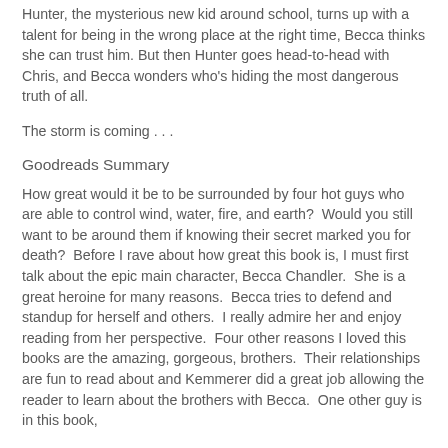Hunter, the mysterious new kid around school, turns up with a talent for being in the wrong place at the right time, Becca thinks she can trust him. But then Hunter goes head-to-head with Chris, and Becca wonders who's hiding the most dangerous truth of all.
The storm is coming . . .
Goodreads Summary
How great would it be to be surrounded by four hot guys who are able to control wind, water, fire, and earth?  Would you still want to be around them if knowing their secret marked you for death?  Before I rave about how great this book is, I must first talk about the epic main character, Becca Chandler.  She is a great heroine for many reasons.  Becca tries to defend and standup for herself and others.  I really admire her and enjoy reading from her perspective.  Four other reasons I loved this books are the amazing, gorgeous, brothers.  Their relationships are fun to read about and Kemmerer did a great job allowing the reader to learn about the brothers with Becca.  One other guy is in this book,